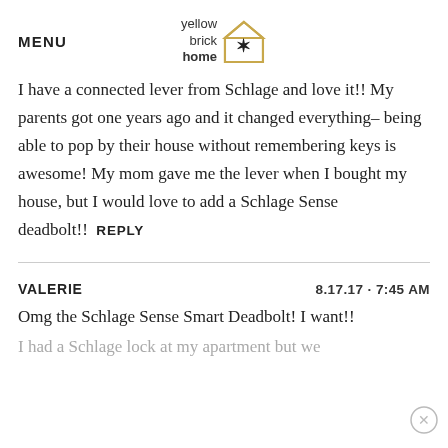MENU | yellow brick home logo
I have a connected lever from Schlage and love it!! My parents got one years ago and it changed everything– being able to pop by their house without remembering keys is awesome! My mom gave me the lever when I bought my house, but I would love to add a Schlage Sense deadbolt!!  REPLY
VALERIE   8.17.17 · 7:45 AM
Omg the Schlage Sense Smart Deadbolt! I want!!
I had a Schlage lock at my apartment but we